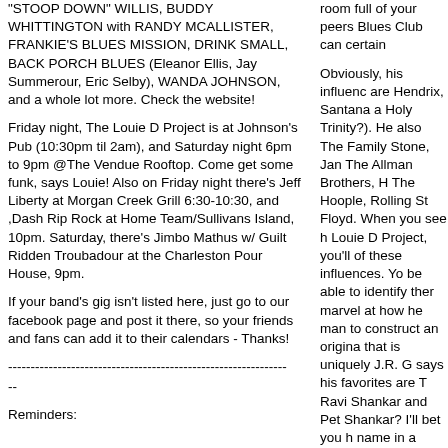"STOOP DOWN" WILLIS, BUDDY WHITTINGTON with RANDY MCALLISTER, FRANKIE'S BLUES MISSION, DRINK SMALL, BACK PORCH BLUES (Eleanor Ellis, Jay Summerour, Eric Selby), WANDA JOHNSON, and a whole lot more. Check the website!
Friday night, The Louie D Project is at Johnson's Pub (10:30pm til 2am), and Saturday night 6pm to 9pm @The Vendue Rooftop. Come get some funk, says Louie! Also on Friday night there's Jeff Liberty at Morgan Creek Grill 6:30-10:30, and ,Dash Rip Rock at Home Team/Sullivans Island, 10pm. Saturday, there's Jimbo Mathus w/ Guilt Ridden Troubadour at the Charleston Pour House, 9pm.
If your band's gig isn't listed here, just go to our facebook page and post it there, so your friends and fans can add it to their calendars - Thanks!
--------------------------------------------------------------
--
Reminders:
room full of your peers Blues Club can certain
Obviously, his influenc are Hendrix, Santana a Holy Trinity?). He also The Family Stone, Jan The Allman Brothers, H The Hoople, Rolling St Floyd. When you see h Louie D Project, you'll of these influences. Yo be able to identify ther marvel at how he man to construct an origina that is uniquely J.R. G says his favorites are T Ravi Shankar and Pet Shankar? I'll bet you h name in a while… Tha some of the other-worl J.R. can create!
Currently, he has beer Sound Studios working CD of dance and party other surprises) with th He shared a rough mix with me. It's a super-h "Don't Take Sand To T